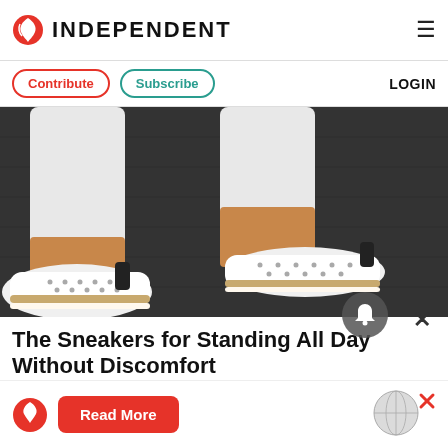INDEPENDENT
Contribute  Subscribe  LOGIN
[Figure (photo): Close-up photo of a person wearing white jeans and white perforated slip-on sneakers with brown/tan espadrille-style soles, standing on a dark stone pavement.]
The Sneakers for Standing All Day Without Discomfort
[Figure (infographic): Advertisement bar at the bottom showing Independent eagle logo, a red 'Read More' button, and a globe graphic with a red X close button.]